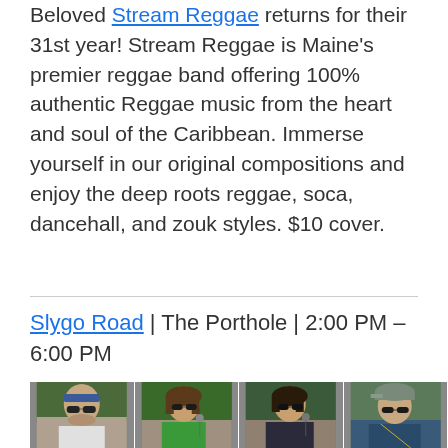Beloved Stream Reggae returns for their 31st year! Stream Reggae is Maine's premier reggae band offering 100% authentic Reggae music from the heart and soul of the Caribbean. Immerse yourself in our original compositions and enjoy the deep roots reggae, soca, dancehall, and zouk styles. $10 cover.
Slygo Road | The Porthole | 2:00 PM – 6:00 PM
[Figure (photo): A photo strip showing four band members performing outdoors, each wearing sunglasses against a greenery background.]